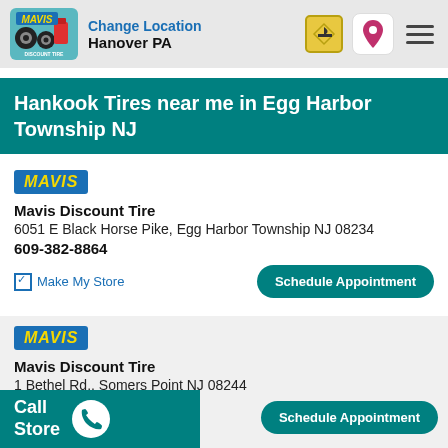Change Location Hanover PA
Hankook Tires near me in Egg Harbor Township NJ
MAVIS
Mavis Discount Tire
6051 E Black Horse Pike, Egg Harbor Township NJ 08234
609-382-8864
Make My Store
Schedule Appointment
MAVIS
Mavis Discount Tire
1 Bethel Rd., Somers Point NJ 08244
609-225-5008
Schedule Appointment
Call Store